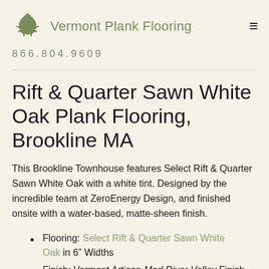Vermont Plank Flooring
866.804.9609
Rift & Quarter Sawn White Oak Plank Flooring, Brookline MA
This Brookline Townhouse features Select Rift & Quarter Sawn White Oak with a white tint. Designed by the incredible team at ZeroEnergy Design, and finished onsite with a water-based, matte-sheen finish.
Flooring: Select Rift & Quarter Sawn White Oak in 6" Widths
Finish: Vermont Artisan Mad River Valley Finish